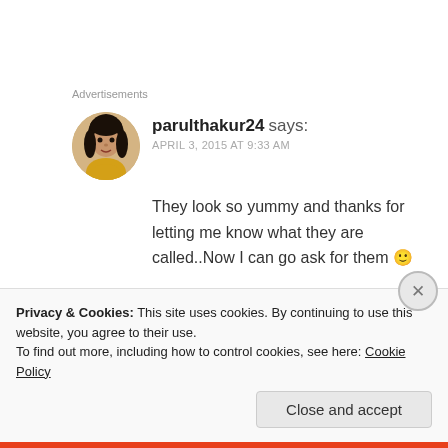Advertisements
parulthakur24 says:
APRIL 3, 2015 AT 9:33 AM
[Figure (photo): Avatar photo of parulthakur24, a woman in a yellow top with dark hair]
They look so yummy and thanks for letting me know what they are called..Now I can go ask for them 🙂
★ Liked by 1 person
REPLY
Privacy & Cookies: This site uses cookies. By continuing to use this website, you agree to their use.
To find out more, including how to control cookies, see here: Cookie Policy
Close and accept